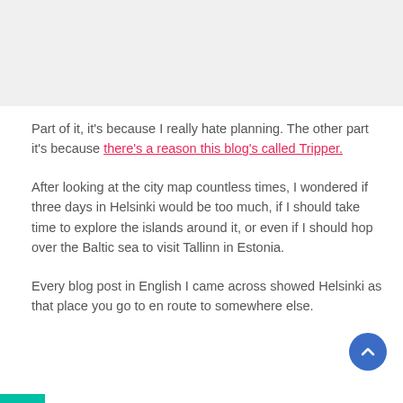Part of it, it's because I really hate planning. The other part it's because there's a reason this blog's called Tripper.
After looking at the city map countless times, I wondered if three days in Helsinki would be too much, if I should take time to explore the islands around it, or even if I should hop over the Baltic sea to visit Tallinn in Estonia.
Every blog post in English I came across showed Helsinki as that place you go to en route to somewhere else.